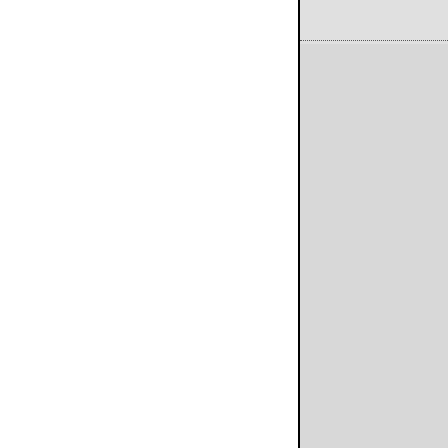1.
Let us unfold God's holy bo
And by the taper's light,
With hearts subdued and so
So spend tbe Sabbath nigh
2.
Where now the thoughts of
Its guilty pleasures where?
Here dies its loud and mou